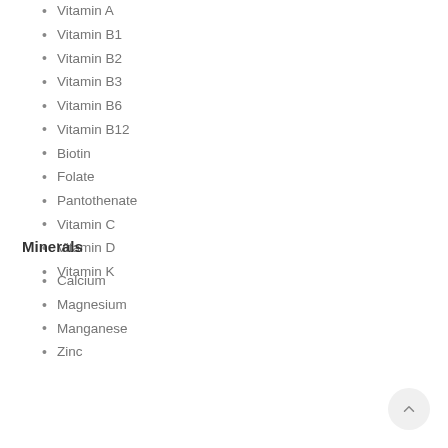Vitamin A
Vitamin B1
Vitamin B2
Vitamin B3
Vitamin B6
Vitamin B12
Biotin
Folate
Pantothenate
Vitamin C
Vitamin D
Vitamin K
Minerals
Calcium
Magnesium
Manganese
Zinc